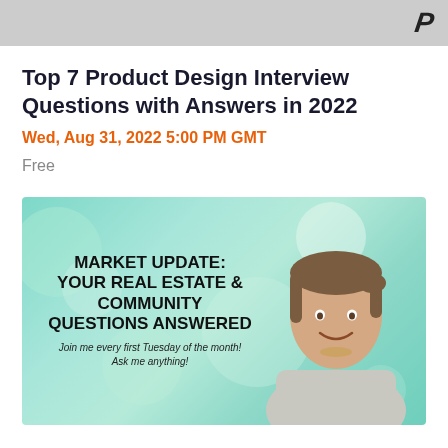P (logo/brand icon)
Top 7 Product Design Interview Questions with Answers in 2022
Wed, Aug 31, 2022 5:00 PM GMT
Free
[Figure (photo): Promotional banner with green bokeh background. Bold text reads: MARKET UPDATE: YOUR REAL ESTATE & COMMUNITY QUESTIONS ANSWERED. Smaller italic text: Join me every first Tuesday of the month! Ask me anything! A smiling woman with dark hair pulled back is shown on the right side of the banner.]